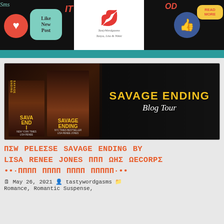TastyWordgasms - Tanya, Lita & Nikki - Like New Post, Read More, social stickers banner
[Figure (photo): Savage Ending Blog Tour banner with book covers and couple embracing]
NOW RELEASE SAVAGE ENDING BY LISA RENEE JONES ★★★ ★★★★ ••·•••• •••• •••• •••••·••
May 26, 2021 • tastywordgasms • Romance, Romantic Suspense,